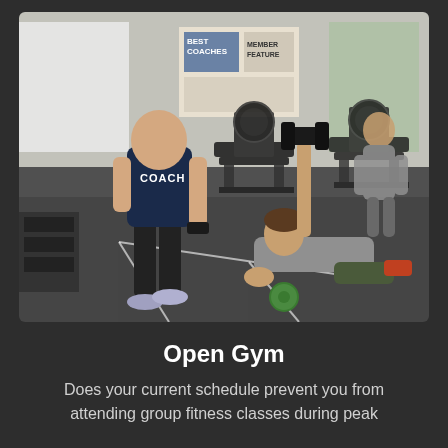[Figure (photo): A gym scene showing a coach in a dark blue 'COACH' t-shirt and black shorts standing and holding gym equipment, a man in a gray t-shirt doing a floor exercise while holding a dumbbell overhead with one arm, and a woman in a gray jacket standing in the background near rowing machines. The gym has dark rubber flooring with white line markings and gym equipment visible throughout.]
Open Gym
Does your current schedule prevent you from attending group fitness classes during peak